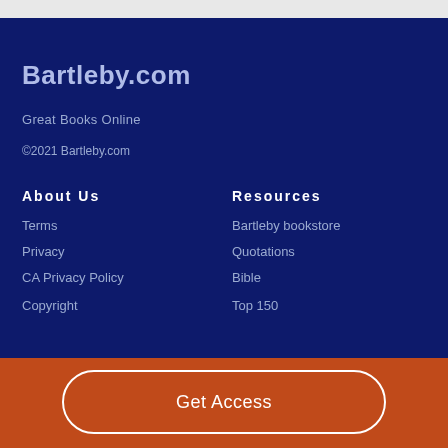Bartleby.com
Great Books Online
©2021 Bartleby.com
About Us
Resources
Terms
Privacy
CA Privacy Policy
Copyright
Bartleby bookstore
Quotations
Bible
Top 150
Get Access